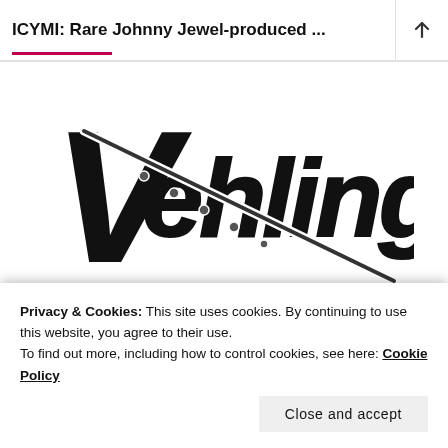ICYMI: Rare Johnny Jewel-produced ...
[Figure (logo): Vehlinggo logo — stylized black and white hand-lettered wordmark with musical instrument (flute/clarinet) graphic elements, bold graffiti-style lettering with white outline on white background]
Privacy & Cookies: This site uses cookies. By continuing to use this website, you agree to their use.
To find out more, including how to control cookies, see here: Cookie Policy
Close and accept